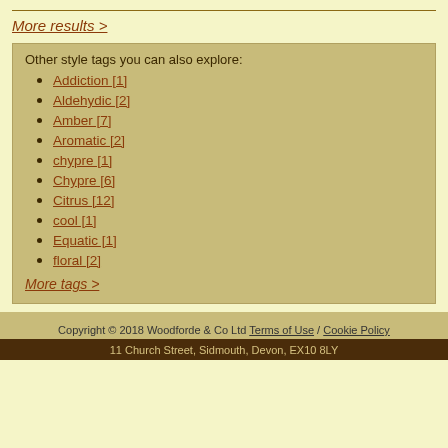More results >
Other style tags you can also explore:
Addiction [1]
Aldehydic [2]
Amber [7]
Aromatic [2]
chypre [1]
Chypre [6]
Citrus [12]
cool [1]
Equatic [1]
floral [2]
More tags >
Copyright © 2018 Woodforde & Co Ltd Terms of Use / Cookie Policy
11 Church Street, Sidmouth, Devon, EX10 8LY